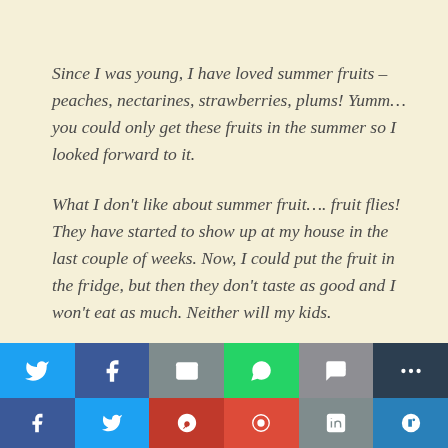Since I was young, I have loved summer fruits – peaches, nectarines, strawberries, plums!  Yumm… you could only get these fruits in the summer so I looked forward to it.
What I don't like about summer fruit….  fruit flies!  They have started to show up at my house in the last couple of weeks.  Now, I could put the fruit in the fridge, but then they don't taste as good and I won't eat as much.  Neither will my kids.
How do I deal with the fruit flies?  Fruit flies are pretty
[Figure (infographic): Social media sharing bar with icons for Twitter (blue), Facebook (dark blue), Email (grey), WhatsApp (green), SMS (grey), and More (dark) buttons, plus a second row of social share icons below.]